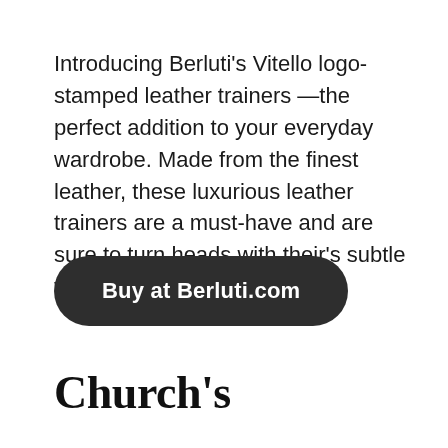Introducing Berluti's Vitello logo-stamped leather trainers —the perfect addition to your everyday wardrobe. Made from the finest leather, these luxurious leather trainers are a must-have and are sure to turn heads with their's subtle tonal crest.
Buy at Berluti.com
Church's